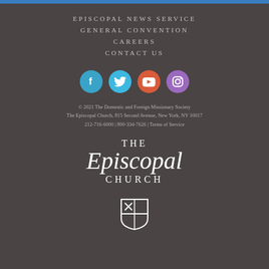EPISCOPAL NEWS SERVICE
GENERAL CONVENTION
CAREERS
CONTACT US
[Figure (illustration): Four social media icon circles: Facebook (blue), Twitter (light blue), YouTube (orange-red), Instagram (purple)]
© 2021 The Domestic and Foreign Missionary Society
The Episcopal Church, 815 Second Avenue, New York, NY 10017
212-716-6000 | 800-334-7626 | Terms of Service
[Figure (logo): The Episcopal Church logo with text 'THE Episcopal CHURCH' and a shield cross emblem below]